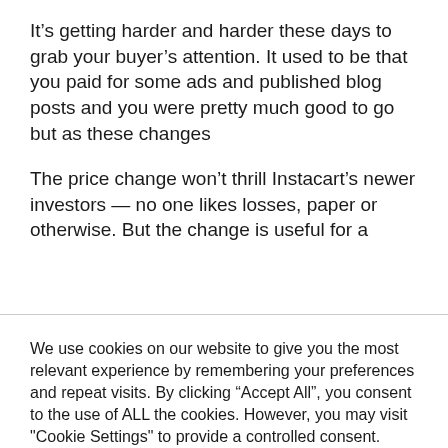It’s getting harder and harder these days to grab your buyer’s attention. It used to be that you paid for some ads and published blog posts and you were pretty much good to go but as these changes
The price change won’t thrill Instacart’s newer investors — no one likes losses, paper or otherwise. But the change is useful for a
We use cookies on our website to give you the most relevant experience by remembering your preferences and repeat visits. By clicking “Accept All”, you consent to the use of ALL the cookies. However, you may visit "Cookie Settings" to provide a controlled consent.